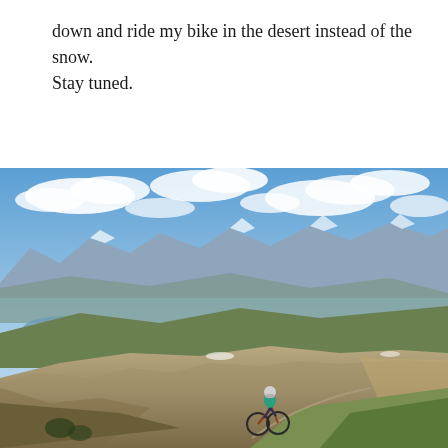down and ride my bike in the desert instead of the snow. Stay tuned.
[Figure (photo): A mountain biker in a teal jacket and helmet rides along a high alpine ridge trail. In the background, rolling mountain ridges stretch to the horizon under a partly cloudy blue sky. A reservoir is visible in the distance to the left. The foreground shows tan/brown rocky alpine terrain with patches of green grass.]